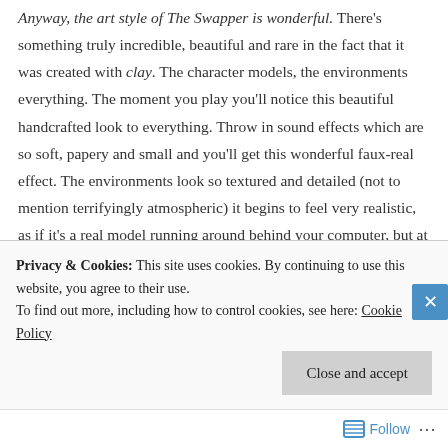Anyway, the art style of The Swapper is wonderful. There's something truly incredible, beautiful and rare in the fact that it was created with clay. The character models, the environments everything. The moment you play you'll notice this beautiful handcrafted look to everything. Throw in sound effects which are so soft, papery and small and you'll get this wonderful faux-real effect. The environments look so textured and detailed (not to mention terrifyingly atmospheric) it begins to feel very realistic, as if it's a real model running around behind your computer, but at the
Privacy & Cookies: This site uses cookies. By continuing to use this website, you agree to their use.
To find out more, including how to control cookies, see here: Cookie Policy
Close and accept
Follow ···